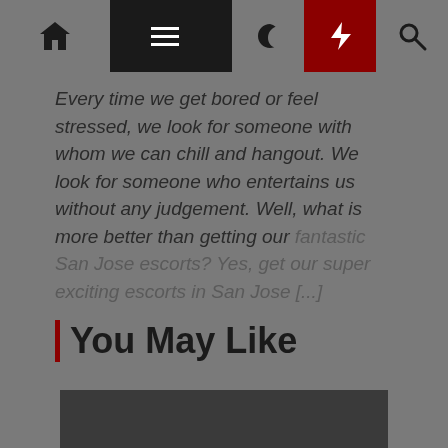Navigation bar with home, menu, moon, bolt, and search icons
Every time we get bored or feel stressed, we look for someone with whom we can chill and hangout. We look for someone who entertains us without any judgement. Well, what is more better than getting our fantastic San Jose escorts? Yes, get our super exciting escorts in San Jose [...]
You May Like
[Figure (photo): Dark rectangular image placeholder]